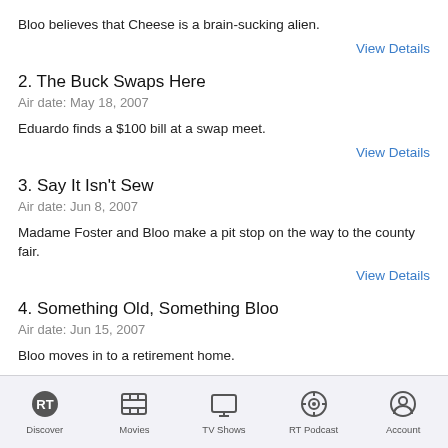Bloo believes that Cheese is a brain-sucking alien.
View Details
2. The Buck Swaps Here
Air date: May 18, 2007
Eduardo finds a $100 bill at a swap meet.
View Details
3. Say It Isn't Sew
Air date: Jun 8, 2007
Madame Foster and Bloo make a pit stop on the way to the county fair.
View Details
4. Something Old, Something Bloo
Air date: Jun 15, 2007
Bloo moves in to a retirement home.
Discover | Movies | TV Shows | RT Podcast | Account